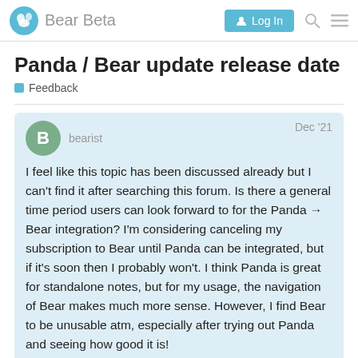Bear Beta  Log In
Panda / Bear update release date
Feedback
bearist  Dec '21
I feel like this topic has been discussed already but I can't find it after searching this forum. Is there a general time period users can look forward to for the Panda → Bear integration? I'm considering canceling my subscription to Bear until Panda can be integrated, but if it's soon then I probably won't. I think Panda is great for standalone notes, but for my usage, the navigation of Bear makes much more sense. However, I find Bear to be unusable atm, especially after trying out Panda and seeing how good it is!
1 / 6